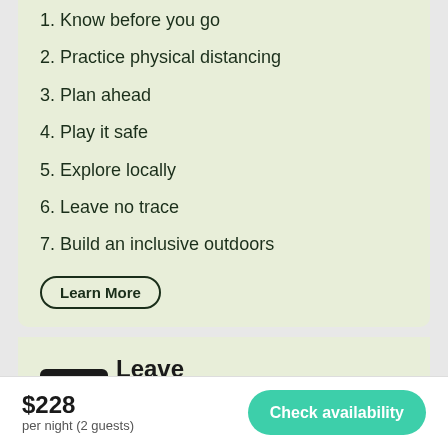1. Know before you go
2. Practice physical distancing
3. Plan ahead
4. Play it safe
5. Explore locally
6. Leave no trace
7. Build an inclusive outdoors
Learn More
[Figure (logo): Leave No Trace Center For Outdoor Ethics logo — black spiral square icon with text 'Leave No Trace' and 'Center For Outdoor Ethics' below]
$228
per night (2 guests)
Check availability